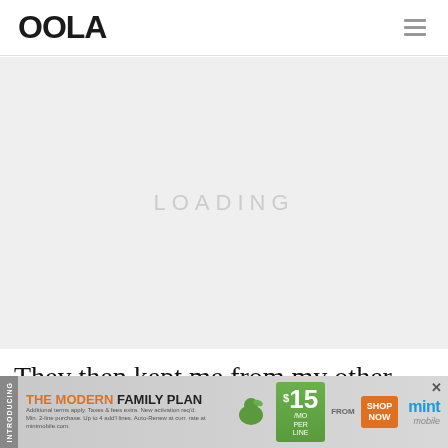OOLA
[Figure (photo): Hero image area, appears blank/loading with faint placeholder text]
They then kept me from my other
[Figure (infographic): Mint Mobile advertisement banner: INTRODUCING / THE MODERN FAMILY PLAN / FROM $15/MO PER LINE / SHOP NOW]